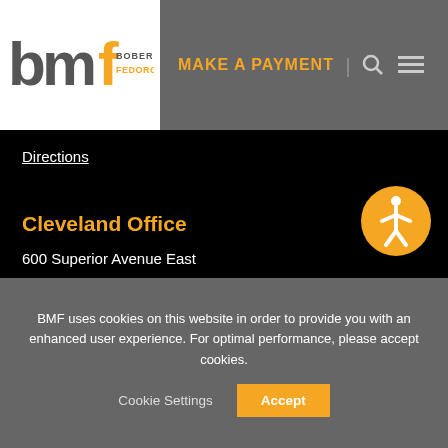[Figure (logo): BMF Bober Markey Fedorovich logo — stylized bmf letters in gray/orange with full company name]
MAKE A PAYMENT
Directions
Cleveland Office
600 Superior Avenue East
Suite 925
Cleveland, OH 44114-2619
216.373.2500
Directions
[Figure (infographic): Four social media icons in white circles: Twitter, LinkedIn, Facebook, Instagram]
BMF uses cookies on this website in order to provide you with an enhanced user experience. For optimal performance, please accept cookies.
Cookie Settings
Accept